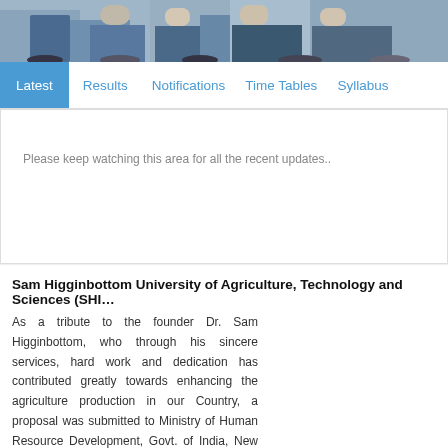[Figure (photo): Photo strip at top showing students sitting outdoors with backpacks, cropped to show lower bodies in jeans]
Latest  Results  Notifications  Time Tables  Syllabus
Please keep watching this area for all the recent updates..
Sam Higginbottom University of Agriculture, Technology and Sciences (SHI…
As a tribute to the founder Dr. Sam Higginbottom, who through his sincere services, hard work and dedication has contributed greatly towards enhancing the agriculture production in our Country, a proposal was submitted to Ministry of Human Resource Development, Govt. of India, New Delhi to re-christened Allahabad Agricultural Institute-Deemed University as "Sam